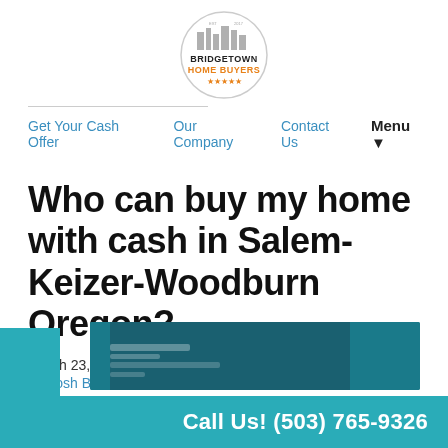[Figure (logo): Bridgetown Home Buyers circular logo with city skyline illustration. Text: BRIDGETOWN HOME BUYERS with orange and dark text, stars at bottom.]
Get Your Cash Offer   Our Company   Contact Us   Menu ▼
Who can buy my home with cash in Salem-Keizer-Woodburn Oregon?
March 23, 2022
By Josh B.
[Figure (screenshot): Partial image with teal/dark blue background showing blurred text content]
Call Us! (503) 765-9326